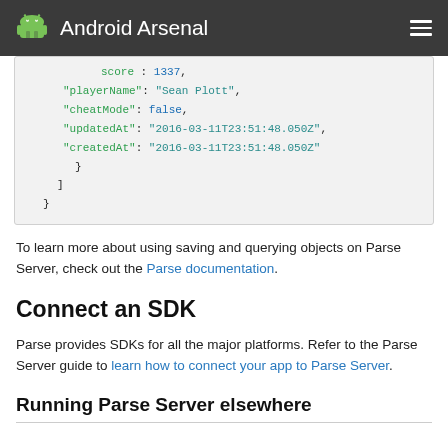Android Arsenal
[Figure (screenshot): Code block showing JSON with fields: score: 1337, playerName: 'Sean Plott', cheatMode: false, updatedAt: '2016-03-11T23:51:48.050Z', createdAt: '2016-03-11T23:51:48.050Z' followed by closing braces and brackets]
To learn more about using saving and querying objects on Parse Server, check out the Parse documentation.
Connect an SDK
Parse provides SDKs for all the major platforms. Refer to the Parse Server guide to learn how to connect your app to Parse Server.
Running Parse Server elsewhere